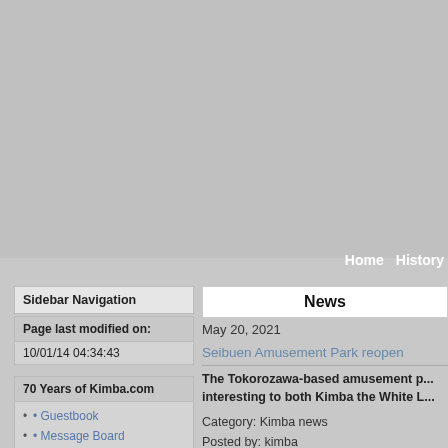Home   History
Sidebar Navigation
Page last modified on:
10/01/14 04:34:43
70 Years of Kimba.com
Guestbook
Message Board
Visit us on Facebook!
Feel free to contact the Webmaster
Impressum
TV Airings
News
May 20, 2021
Seibuen Amusement Park reopen
The Tokorozawa-based amusement p... interesting to both Kimba the White L...
Category: Kimba news
Posted by: kimba
Seibuen Amusement Park, an amuseme... Prefecture) that was previously renovat...
Just like the Seibu Lions baseball team,
The park is designed in a retro style of t... en has designed its own in-house curre...